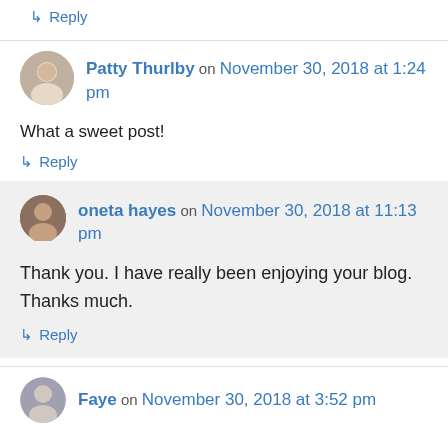↳ Reply
Patty Thurlby on November 30, 2018 at 1:24 pm
What a sweet post!
↳ Reply
oneta hayes on November 30, 2018 at 11:13 pm
Thank you. I have really been enjoying your blog. Thanks much.
↳ Reply
Faye on November 30, 2018 at 3:52 pm